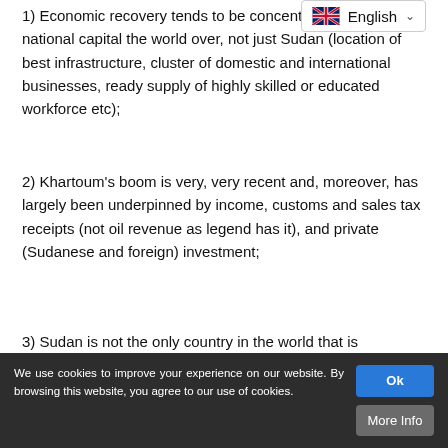1) Economic recovery tends to be concentrated in the national capital the world over, not just Sudan (location of best infrastructure, cluster of domestic and international businesses, ready supply of highly skilled or educated workforce etc);
2) Khartoum's boom is very, very recent and, moreover, has largely been underpinned by income, customs and sales tax receipts (not oil revenue as legend has it), and private (Sudanese and foreign) investment;
3) Sudan is not the only country in the world that is bedeviled by vast regional disparities of economic development – check contrast